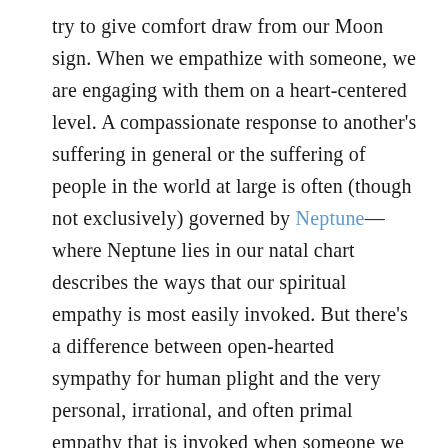try to give comfort draw from our Moon sign. When we empathize with someone, we are engaging with them on a heart-centered level. A compassionate response to another's suffering in general or the suffering of people in the world at large is often (though not exclusively) governed by Neptune—where Neptune lies in our natal chart describes the ways that our spiritual empathy is most easily invoked. But there's a difference between open-hearted sympathy for human plight and the very personal, irrational, and often primal empathy that is invoked when someone we care for is in pain. Of course, when Neptune is linked with the Moon or any of the personal planets in our chart—Mars, Venus, the Sun, or the Moon—the range and intensity of our empathetic response doubles!